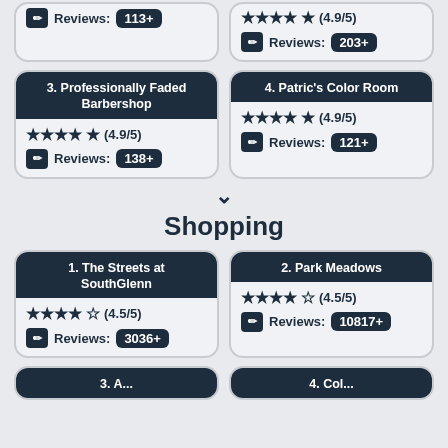[Figure (infographic): Card for item 3: Professionally Faded Barbershop, rating 4.9/5, 138+ reviews]
[Figure (infographic): Card for item 4: Patric's Color Room, rating 4.9/5, 121+ reviews]
[Figure (infographic): Chevron down arrow separator]
Shopping
[Figure (infographic): Card for item 1: The Streets at SouthGlenn, rating 4.5/5, 3036+ reviews]
[Figure (infographic): Card for item 2: Park Meadows, rating 4.5/5, 10817+ reviews]
[Figure (infographic): Partial card row at bottom (items 3 and 4 for Shopping, cut off)]